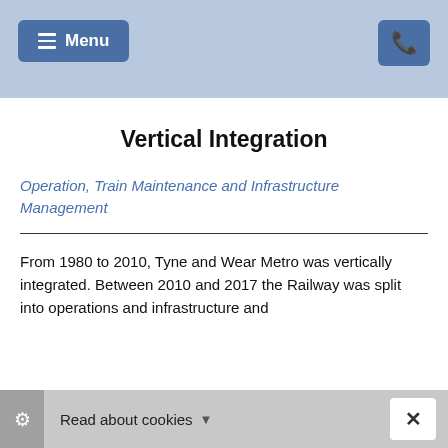Menu
[Figure (photo): Blurred photograph of people in a station or public transport setting, with blue and grey tones]
Vertical Integration
Operation, Train Maintenance and Infrastructure Management
From 1980 to 2010, Tyne and Wear Metro was vertically integrated. Between 2010 and 2017 the Railway was split into operations and infrastructure and
Read about cookies ×